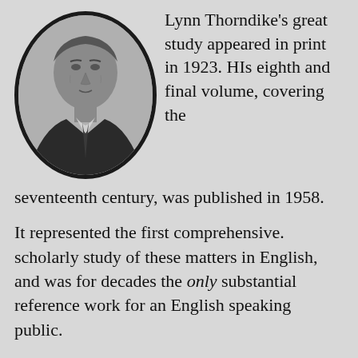[Figure (photo): Black and white portrait photo of Lynn Thorndike, an older man in a suit and tie, displayed in an oval/circular crop with thick black border.]
Lynn Thorndike’s great study appeared in print in 1923. HIs eighth and final volume, covering the seventeenth century, was published in 1958.
It represented the first comprehensive. scholarly study of these matters in English, and was for decades the only substantial reference work for an English speaking public.